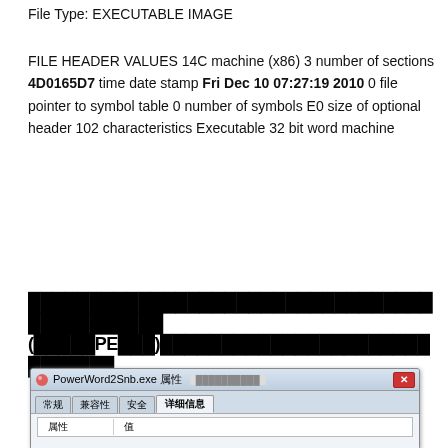File Type: EXECUTABLE IMAGE
FILE HEADER VALUES 14C machine (x86) 3 number of sections 4D0165D7 time date stamp Fri Dec 10 07:27:19 2010 0 file pointer to symbol table 0 number of symbols E0 size of optional header 102 characteristics Executable 32 bit word machine
(binary block / encoded content lines)
[Figure (screenshot): Windows file properties dialog for PowerWord2Snb.exe showing tabs: 常规, 兼容性, 安全, 详细信息 (active). Content area shows table with columns 属性 and 值.]